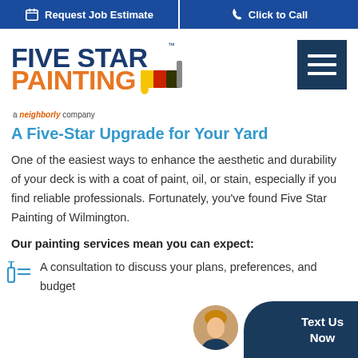Request Job Estimate | Click to Call
[Figure (logo): Five Star Painting logo with paint brush icon and gradient paint drip, with 'a neighborly company' tagline below]
A Five-Star Upgrade for Your Yard
One of the easiest ways to enhance the aesthetic and durability of your deck is with a coat of paint, oil, or stain, especially if you find reliable professionals. Fortunately, you've found Five Star Painting of Wilmington.
Our painting services mean you can expect:
A consultation to discuss your plans, preferences, and budget